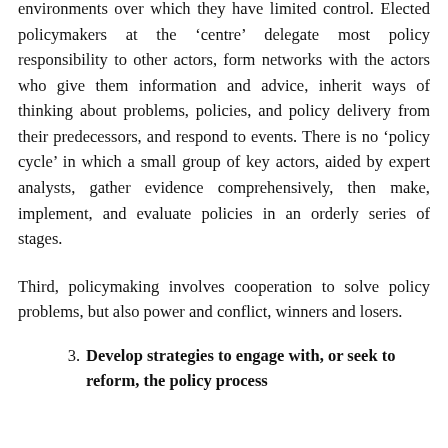environments over which they have limited control. Elected policymakers at the ‘centre’ delegate most policy responsibility to other actors, form networks with the actors who give them information and advice, inherit ways of thinking about problems, policies, and policy delivery from their predecessors, and respond to events. There is no ‘policy cycle’ in which a small group of key actors, aided by expert analysts, gather evidence comprehensively, then make, implement, and evaluate policies in an orderly series of stages.
Third, policymaking involves cooperation to solve policy problems, but also power and conflict, winners and losers.
3. Develop strategies to engage with, or seek to reform, the policy process